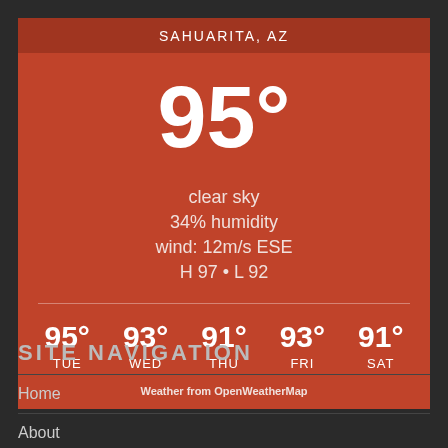SAHUARITA, AZ
95°
clear sky
34% humidity
wind: 12m/s ESE
H 97 • L 92
[Figure (infographic): 5-day forecast: TUE 95°, WED 93°, THU 91°, FRI 93°, SAT 91°]
Weather from OpenWeatherMap
SITE NAVIGATION
Home
About